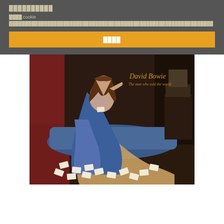██████████
████ cookie ████████████████████████████████████████████████████████
████
[Figure (photo): David Bowie 'The Man Who Sold The World' album cover. A figure in a long blue and satin robe reclines on the floor, leaning against a couch, with playing cards scattered on the floor. Text reads 'David Bowie / The man who sold the world' in gold script in the upper right.]